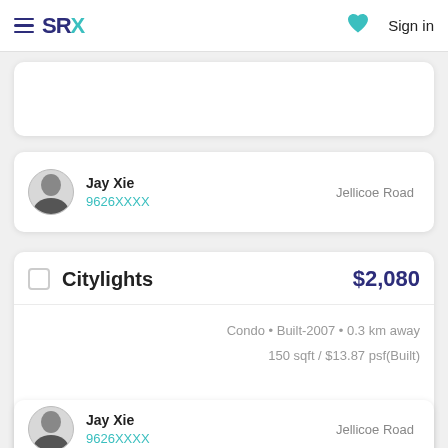SRX  Sign in
Jay Xie
9626XXXX
Jellicoe Road
Citylights  $2,080
Condo • Built-2007 • 0.3 km away
150 sqft / $13.87 psf(Built)
Jay Xie
9626XXXX
Jellicoe Road